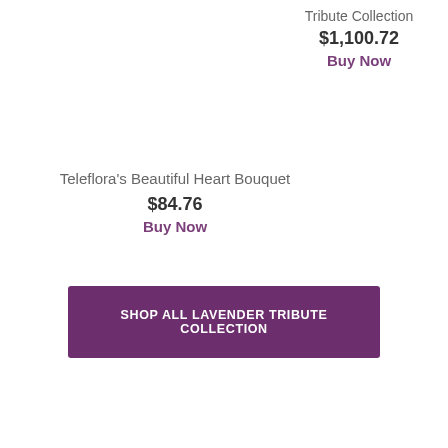Tribute Collection
$1,100.72
Buy Now
Teleflora's Beautiful Heart Bouquet
$84.76
Buy Now
SHOP ALL LAVENDER TRIBUTE COLLECTION